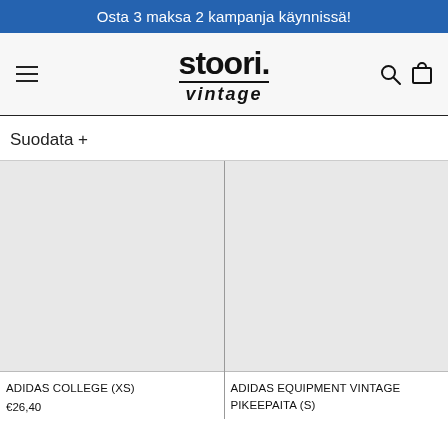Osta 3 maksa 2 kampanja käynnissä!
[Figure (logo): stoori.vintage logo with hamburger menu, search and cart icons]
Suodata +
[Figure (photo): Product image placeholder for ADIDAS COLLEGE (XS) - light grey rectangle]
[Figure (photo): Product image placeholder for ADIDAS EQUIPMENT VINTAGE PIKEEPAITA (S) - light grey rectangle]
ADIDAS COLLEGE (XS)
€26,40
ADIDAS EQUIPMENT VINTAGE PIKEEPAITA (S)